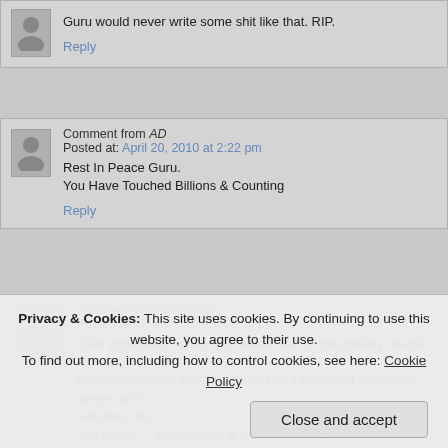Guru would never write some shit like that. RIP.
Reply
Comment from AD
Posted at: April 20, 2010 at 2:22 pm
Rest In Peace Guru.
You Have Touched Billions & Counting
Reply
Comment from junglecat
Posted at: April 20, 2010 at 2:26 pm
Dear gimantalon, could you please tell us the primary source where Guru's letter was published/posted first? I can't find no info neither on Solar's twitter nor on their websites, etc..
You state: "[...]Guru wrote a letter, which was provided by Solar, to his family before his illness,[...]"
Please, where (by which means) did Solar provide this letter to Guru's fa...
Thanks in advance for your answer and thanks for your really informative...
Privacy & Cookies: This site uses cookies. By continuing to use this website, you agree to their use.
To find out more, including how to control cookies, see here: Cookie Policy
Close and accept